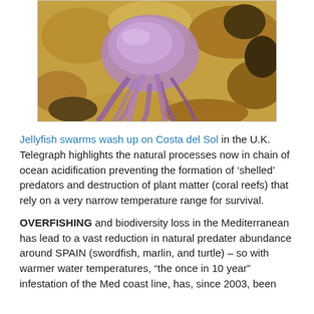[Figure (photo): A purple/violet jellyfish photographed against a rocky coral reef background with sandy yellow and brown tones.]
Jellyfish swarms wash up on Costa del Sol in the U.K. Telegraph highlights the natural processes now in chain of ocean acidification preventing the formation of ‘shelled’ predators and destruction of plant matter (coral reefs) that rely on a very narrow temperature range for survival.
OVERFISHING and biodiversity loss in the Mediterranean has lead to a vast reduction in natural predater abundance around SPAIN (swordfish, marlin, and turtle) – so with warmer water temperatures, “the once in 10 year” infestation of the Med coast line, has, since 2003, been